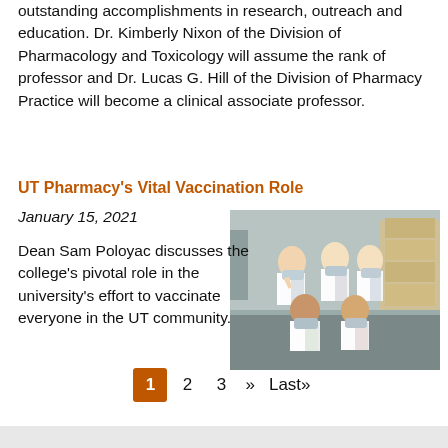outstanding accomplishments in research, outreach and education. Dr. Kimberly Nixon of the Division of Pharmacology and Toxicology will assume the rank of professor and Dr. Lucas G. Hill of the Division of Pharmacy Practice will become a clinical associate professor.
UT Pharmacy's Vital Vaccination Role
January 15, 2021
[Figure (photo): Group photo of five pharmacy students or staff wearing white lab coats and masks, posing together in what appears to be a storage or warehouse area with boxes in the background.]
Dean Sam Poloyac discusses the college's pivotal role in the university's effort to vaccinate everyone in the UT community.
1  2  3  »  Last»